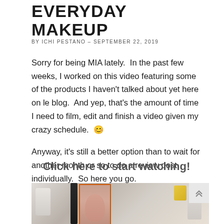EVERYDAY MAKEUP
BY ICHI PESTANO - SEPTEMBER 22, 2019
Sorry for being MIA lately.  In the past few weeks, I worked on this video featuring some of the products I haven't talked about yet here on le blog.  And yep, that's the amount of time I need to film, edit and finish a video given my crazy schedule.  😊
Anyway, it's still a better option than to wait for another month or so to do a review post individually.  So here you go.
Click here to start watching!
[Figure (photo): Thumbnail of a makeup video showing a woman's face in portrait orientation framed with an orange border, surrounded by various makeup products on a white surface.]